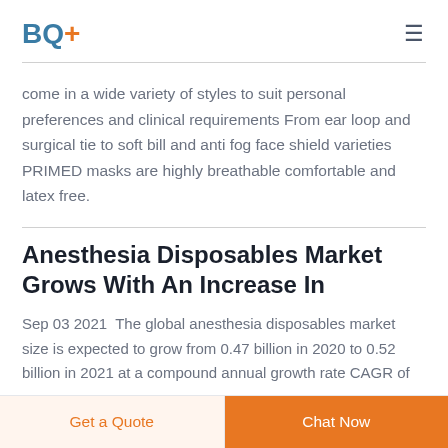BQ+
come in a wide variety of styles to suit personal preferences and clinical requirements From ear loop and surgical tie to soft bill and anti fog face shield varieties PRIMED masks are highly breathable comfortable and latex free.
Anesthesia Disposables Market Grows With An Increase In
Sep 03 2021  The global anesthesia disposables market size is expected to grow from 0.47 billion in 2020 to 0.52 billion in 2021 at a compound annual growth rate CAGR of
Get a Quote  Chat Now